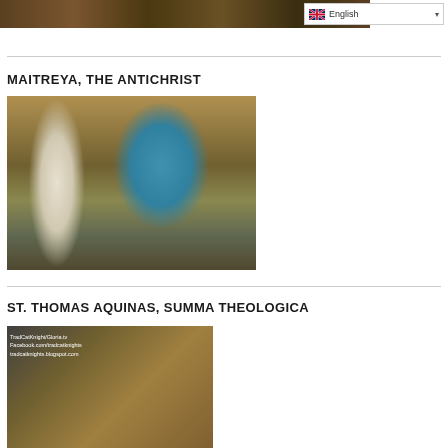[Figure (photo): Partial view of a photo strip at the top of the page showing people's feet/legs and ground]
[Figure (screenshot): English language selector dropdown with UK flag icon]
MAITREYA, THE ANTICHRIST
[Figure (photo): Photograph of two people in religious garments — a man in white robes and white headcovering with a beard, and a woman in a blue nun's habit holding a cross — surrounded by a crowd outdoors]
ST. THOMAS AQUINAS, SUMMA THEOLOGICA
[Figure (photo): Partial image with TradCatKnight/Gloria.tv, Facebook.com/tradcatknights, tradcatknights.blogspot.com watermark text overlaid on what appears to be a religious icon or image]